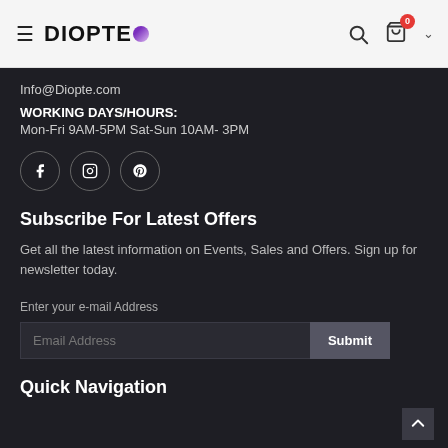DIOPTEO — navigation header with search and cart (0 items)
Info@Diopte.com
WORKING DAYS/HOURS:
Mon-Fri 9AM-5PM Sat-Sun 10AM- 3PM
[Figure (infographic): Social media icons: Facebook, Instagram, Pinterest — each in a circular border]
Subscribe For Latest Offers
Get all the latest information on Events, Sales and Offers. Sign up for newsletter today.
Enter your e-mail Address
Email Address [input field] Submit [button]
Quick Navigation